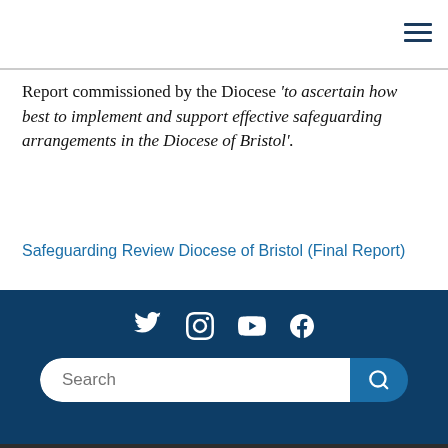hamburger menu icon
Report commissioned by the Diocese 'to ascertain how best to implement and support effective safeguarding arrangements in the Diocese of Bristol'.
Safeguarding Review Diocese of Bristol (Final Report)
[Figure (infographic): Social media icons: Twitter, Instagram, YouTube, Facebook on dark blue background with search bar below]
Dark footer bar